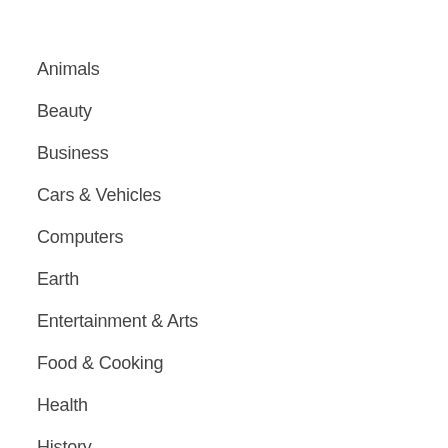Animals
Beauty
Business
Cars & Vehicles
Computers
Earth
Entertainment & Arts
Food & Cooking
Health
History